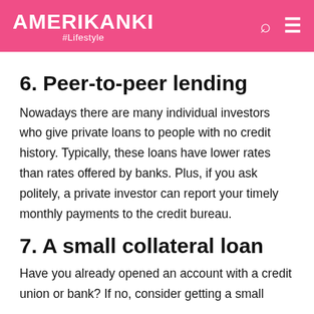AMERIKANKI #Lifestyle
6. Peer-to-peer lending
Nowadays there are many individual investors who give private loans to people with no credit history. Typically, these loans have lower rates than rates offered by banks. Plus, if you ask politely, a private investor can report your timely monthly payments to the credit bureau.
7. A small collateral loan
Have you already opened an account with a credit union or bank? If no, consider getting a small